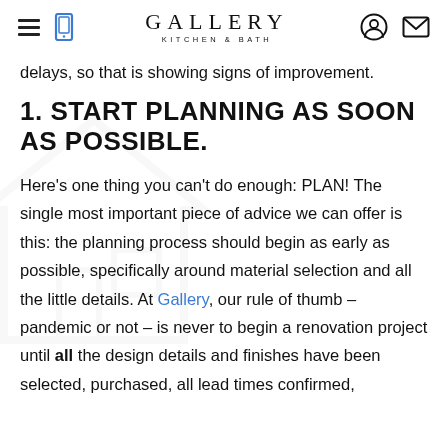GALLERY KITCHEN & BATH
delays, so that is showing signs of improvement.
1. START PLANNING AS SOON AS POSSIBLE.
Here's one thing you can't do enough: PLAN! The single most important piece of advice we can offer is this: the planning process should begin as early as possible, specifically around material selection and all the little details. At Gallery, our rule of thumb – pandemic or not – is never to begin a renovation project until all the design details and finishes have been selected, purchased, all lead times confirmed,